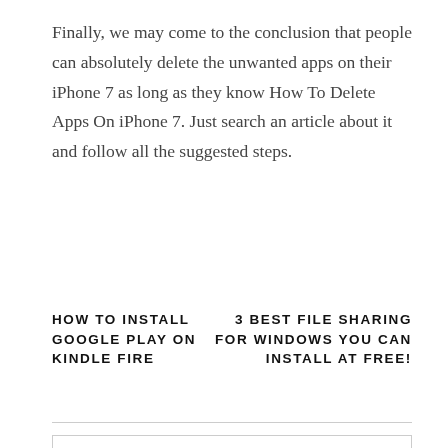Finally, we may come to the conclusion that people can absolutely delete the unwanted apps on their iPhone 7 as long as they know How To Delete Apps On iPhone 7. Just search an article about it and follow all the suggested steps.
HOW TO INSTALL GOOGLE PLAY ON KINDLE FIRE
3 BEST FILE SHARING FOR WINDOWS YOU CAN INSTALL AT FREE!
Search...
RECENT TOPIC